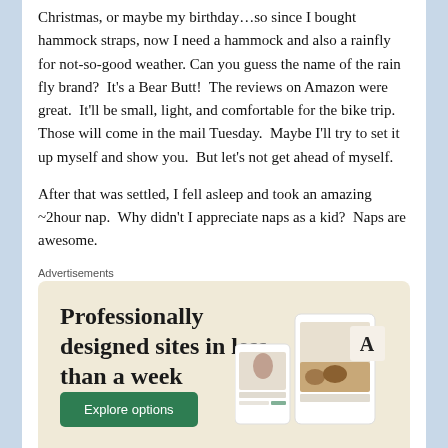Christmas, or maybe my birthday…so since I bought hammock straps, now I need a hammock and also a rainfly for not-so-good weather. Can you guess the name of the rain fly brand?  It's a Bear Butt!  The reviews on Amazon were great.  It'll be small, light, and comfortable for the bike trip.  Those will come in the mail Tuesday.  Maybe I'll try to set it up myself and show you.  But let's not get ahead of myself.

After that was settled, I fell asleep and took an amazing ~2hour nap.  Why didn't I appreciate naps as a kid?  Naps are awesome.
Advertisements
[Figure (infographic): Advertisement banner with beige/cream background. Large serif text reads 'Professionally designed sites in less than a week'. Green button labeled 'Explore options'. Right side shows device mockup screenshots of websites.]